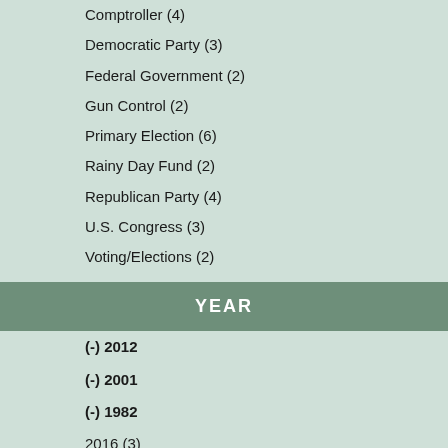Comptroller (4)
Democratic Party (3)
Federal Government (2)
Gun Control (2)
Primary Election (6)
Rainy Day Fund (2)
Republican Party (4)
U.S. Congress (3)
Voting/Elections (2)
YEAR
(-) 2012
(-) 2001
(-) 1982
2016 (3)
2015 (2)
2014 (2)
2013 (2)
2011 (2)